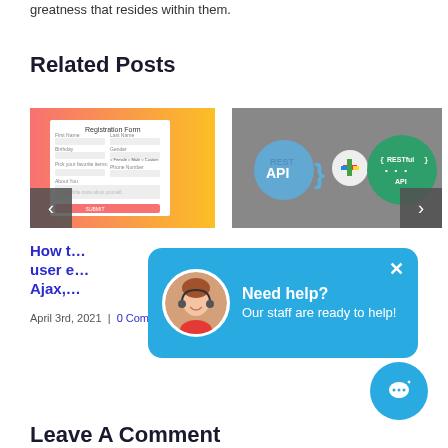greatness that resides within them.
Related Posts
[Figure (screenshot): Registration Form screenshot with pink/orange gradient background]
[Figure (screenshot): REST API and RESTful API icons on grey background]
How t… user e… Ajax,…
…e …ith …QL
April 3rd, 2021  |  0 Comments
March 20th, 2020  |  0 Comments
[Figure (infographic): Need help? chat popup with avatar and close button]
[Figure (infographic): Chat button circle]
Leave A Comment